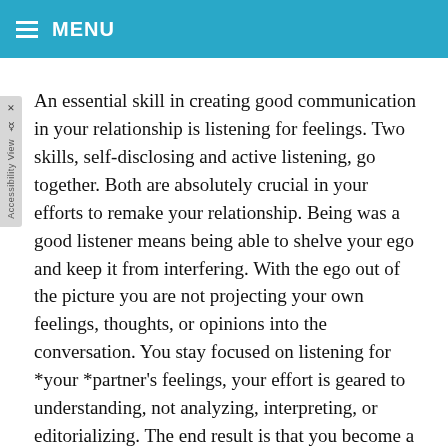≡ MENU
An essential skill in creating good communication in your relationship is listening for feelings. Two skills, self-disclosing and active listening, go together. Both are absolutely crucial in your efforts to remake your relationship. Being was a good listener means being able to shelve your ego and keep it from interfering. With the ego out of the picture you are not projecting your own feelings, thoughts, or opinions into the conversation. You stay focused on listening for *your *partner's feelings, your effort is geared to understanding, not analyzing, interpreting, or editorializing. The end result is that you become a good sounding board for your partner and let his/her feelings emerge.
Being a good sounding board means listening without allowing your ego to interject your own personal agenda into what you hear. This is how you create a safe space for the